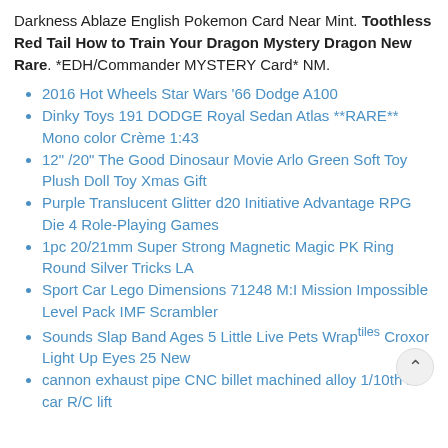Darkness Ablaze English Pokemon Card Near Mint. Toothless Red Tail How to Train Your Dragon Mystery Dragon New  Rare. *EDH/Commander MYSTERY Card* NM.
2016 Hot Wheels Star Wars '66 Dodge A100
Dinky Toys 191 DODGE Royal Sedan Atlas **RARE** Mono color Crème 1:43
12" /20" The Good Dinosaur Movie Arlo Green Soft Toy Plush Doll Toy Xmas Gift
Purple Translucent Glitter d20 Initiative Advantage RPG Die 4 Role-Playing Games
1pc 20/21mm Super Strong Magnetic Magic PK Ring Round Silver Tricks LA
Sport Car Lego Dimensions 71248 M:I Mission Impossible Level Pack IMF Scrambler
Sounds Slap Band Ages 5 Little Live Pets Wraptiles Croxor Light Up Eyes 25 New
cannon exhaust pipe CNC billet machined alloy 1/10th rc car R/C drift...